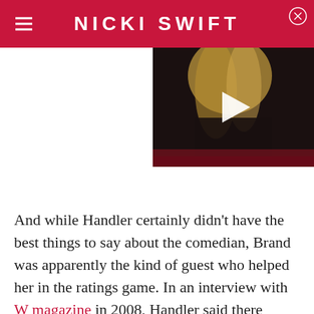NICKI SWIFT
[Figure (photo): Video thumbnail showing a blonde woman, with a white play button overlay, dark background with red accents]
And while Handler certainly didn't have the best things to say about the comedian, Brand was apparently the kind of guest who helped her in the ratings game. In an interview with W magazine in 2008, Handler said there